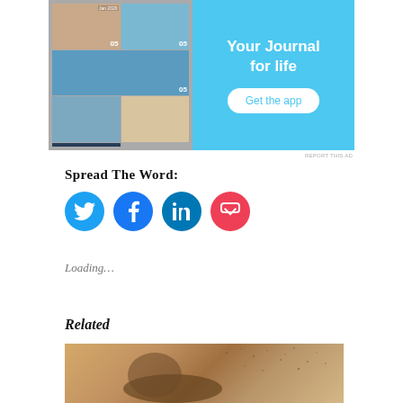[Figure (screenshot): App advertisement banner showing a journal app called 'Your Journal for life' with phone screenshot showing photo grid, and a 'Get the app' button on cyan/light blue background]
REPORT THIS AD
Spread The Word:
[Figure (infographic): Four social sharing icon buttons: Twitter (light blue circle), Facebook (blue circle), LinkedIn (dark blue circle), Pocket (red/pink circle)]
Loading...
Related
[Figure (photo): A person whose upper body is dispersing into scattered particles/dots against a warm sandy/desert background]